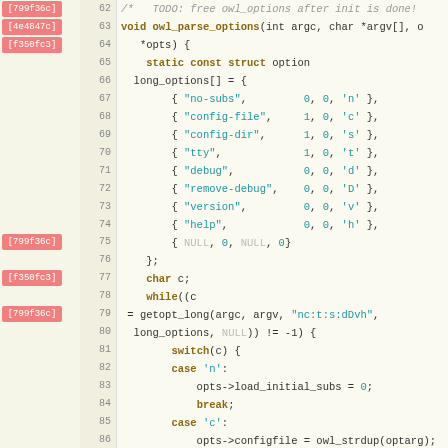[Figure (screenshot): Source code viewer showing C code for owl_parse_options function with git blame annotations (commit hashes [799f36c], [4e4847c], [f350fc3]) on the left, line numbers 62-89, and syntax-highlighted C code on the right. The code shows function definition, long_options array initialization, and a switch statement handling option cases 'n', 'c', 's', 't'.]